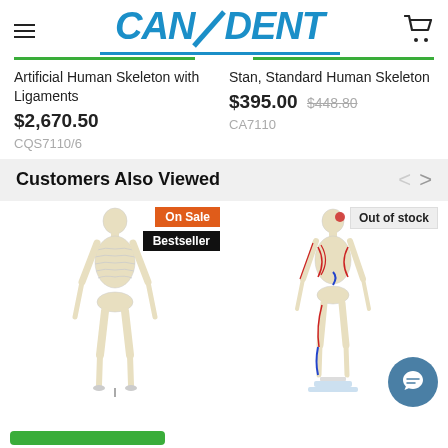CANDENT
Artificial Human Skeleton with Ligaments
$2,670.50
CQS7110/6
Stan, Standard Human Skeleton
$395.00 $448.80
CA7110
Customers Also Viewed
[Figure (photo): Full-size human skeleton model on wheeled stand with 'On Sale' and 'Bestseller' badges]
[Figure (photo): Mini human skeleton model with muscle markings in red and blue, labeled 'Out of stock']